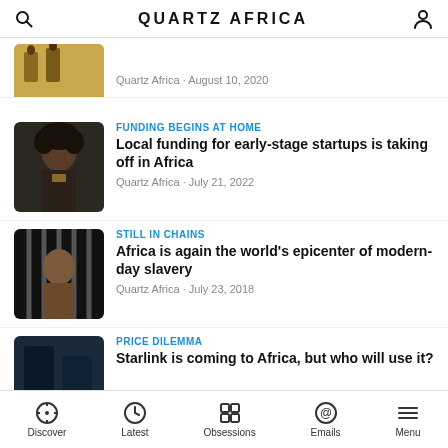QUARTZ AFRICA
[Figure (photo): Partially visible thumbnail of a figure with yellow/ochre background – cropped top article]
Quartz Africa · August 10, 2020
[Figure (photo): Thumbnail of a woman with curly hair in a dark outfit, for the funding article]
FUNDING BEGINS AT HOME
Local funding for early-stage startups is taking off in Africa
Quartz Africa · July 21, 2022
[Figure (photo): Thumbnail of a person behind bars, associated with modern-day slavery article]
STILL IN CHAINS
Africa is again the world's epicenter of modern-day slavery
Quartz Africa · July 23, 2018
[Figure (photo): Partial thumbnail of a dark blue image for Starlink article]
PRICE DILEMMA
Starlink is coming to Africa, but who will use it?
Discover | Latest | Obsessions | Emails | Menu